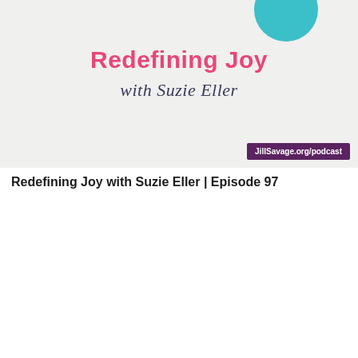[Figure (illustration): Podcast artwork for 'Redefining Joy with Suzie Eller' — light gray background with bold pink title text, italic script subtitle, teal circular photo in upper right, and purple URL badge reading JillSavage.org/podcast]
Redefining Joy with Suzie Eller | Episode 97
[Figure (illustration): Podcast artwork for 'The No More Perfect Podcast with Jill Savage' — episode #96, white background with stacked colored name badges (pink NO, teal MORE, salmon PERFECT, purple PODCAST), circular photo of dark-haired woman in pink border, diagonal purple and pink stripes, and partial photo of a man in lower right]